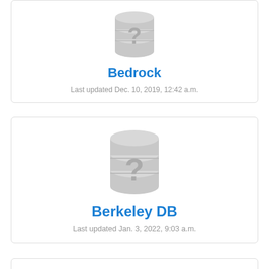[Figure (illustration): Database icon with question mark - gray stacked cylinders with a question mark, for Bedrock]
Bedrock
Last updated Dec. 10, 2019, 12:42 a.m.
[Figure (illustration): Database icon with question mark - gray stacked cylinders with a question mark, for Berkeley DB]
Berkeley DB
Last updated Jan. 3, 2022, 9:03 a.m.